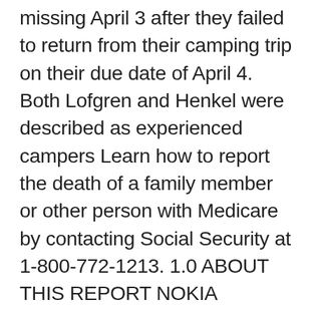missing April 3 after they failed to return from their camping trip on their due date of April 4. Both Lofgren and Henkel were described as experienced campers Learn how to report the death of a family member or other person with Medicare by contacting Social Security at 1-800-772-1213. 1.0 ABOUT THIS REPORT NOKIA PEOPLE & PLANET REPORT 2012 4 1.1 The Scope of this Report Open and transparent reporting of our progress is a key part of our sustainability activities. Nokia has been publishing corporate responsibility reports annually since 2002, and reporting on our environmental activities since 1999. Reports of Deaths After COVID Vaccines Up by 259 in 1 Week, CDC Data Show. Between Dec. 14, 2020, and Mar. 5, 2021, 31,079 reports of adverse events were submitted to VAERS, including 1,524 deaths, 5,507